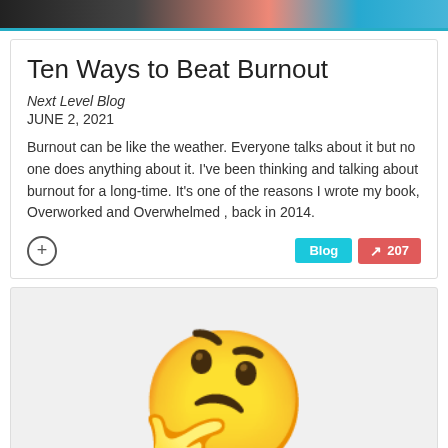[Figure (photo): Top banner image with dark, orange, and blue gradient colors]
Ten Ways to Beat Burnout
Next Level Blog
JUNE 2, 2021
Burnout can be like the weather. Everyone talks about it but no one does anything about it. I've been thinking and talking about burnout for a long-time. It's one of the reasons I wrote my book, Overworked and Overwhelmed , back in 2014.
[Figure (illustration): Thinking face emoji (yellow face with raised eyebrow and hand on chin)]